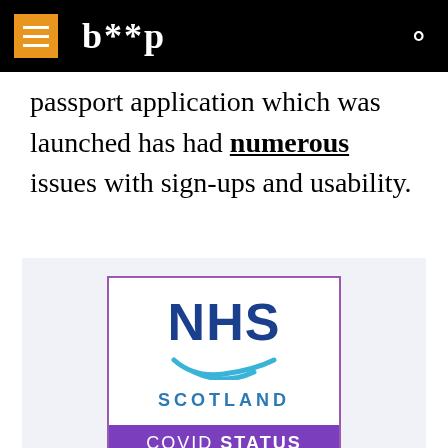b**p
passport application which was launched has had numerous issues with sign-ups and usability.
[Figure (logo): NHS Scotland COVID Status card logo with NHS Scotland text and swoosh logo, with a purple COVID STATUS banner at the bottom]